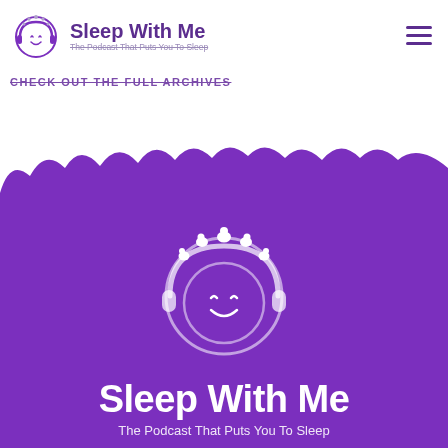Sleep With Me – The Podcast That Puts You To Sleep
CHECK OUT THE FULL ARCHIVES
[Figure (illustration): Sleep With Me podcast logo on purple background with cloud shape — a circular smiling face wearing headphones with small sheep around the top, white on purple, with text 'Sleep With Me – The Podcast That Puts You To Sleep']